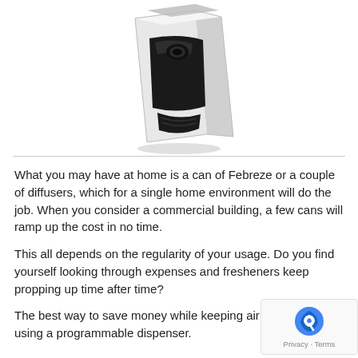[Figure (photo): White and black automatic air freshener dispenser / programmable spray dispenser unit, shown at a slight angle against a white background.]
What you may have at home is a can of Febreze or a couple of diffusers, which for a single home environment will do the job. When you consider a commercial building, a few cans will ramp up the cost in no time.
This all depends on the regularity of your usage. Do you find yourself looking through expenses and fresheners keep propping up time after time?
The best way to save money while keeping air fresh is by using a programmable dispenser.